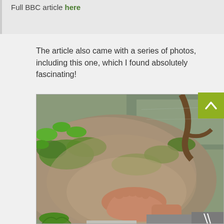Full BBC article here
The article also came with a series of photos, including this one, which I found absolutely fascinating!
[Figure (photo): A person's bare foot resting on a large moss-covered rock near water, with green plants visible around the rock. The person is wearing grey pants. A body of water with a branch is visible in the background.]